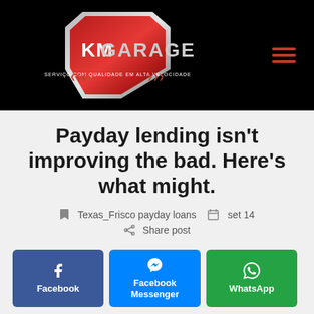[Figure (logo): KM Garage logo — red and chrome shield emblem with 'KM GARAGE' text and tagline 'SERVIÇO COM QUALIDADE EM ALTA VELOCIDADE' on black background with hamburger menu icon]
Payday lending isn't improving the bad. Here's what might.
Texas_Frisco payday loans   set 14
Share post
Facebook
Facebook Messenger
WhatsApp